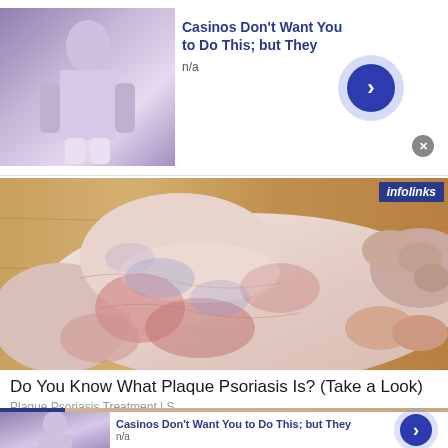[Figure (photo): Advertisement: small thumbnail of a person sitting, with 'Casinos Don't Want You to Do This; but They' headline and arrow button]
Casinos Don't Want You to Do This; but They
n/a
[Figure (photo): Close-up photo of a human foot/ankle showing skin condition with redness and discoloration consistent with plaque psoriasis, on a wooden floor background. Has infolinks badge in top-right corner.]
Do You Know What Plaque Psoriasis Is? (Take a Look)
Plaque Psoriasis Treatment | S
[Figure (photo): Bottom advertisement area showing background of a face/skin close-up with infolinks badge, and a repeated casino ad unit with thumbnail, title, n/a source, and arrow button.]
Casinos Don't Want You to Do This; but They
n/a